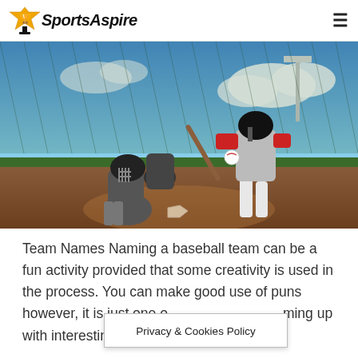SportsAspire
[Figure (photo): Baseball scene: batter in red and gray uniform swinging, catcher and umpire crouching behind home plate, chain-link fence and stadium lights in background, dramatic blue sky with clouds]
Team Names Naming a baseball team can be a fun activity provided that some creativity is used in the process. You can make good use of puns however, it is just one of the options for coming up with interesting
Privacy & Cookies Policy